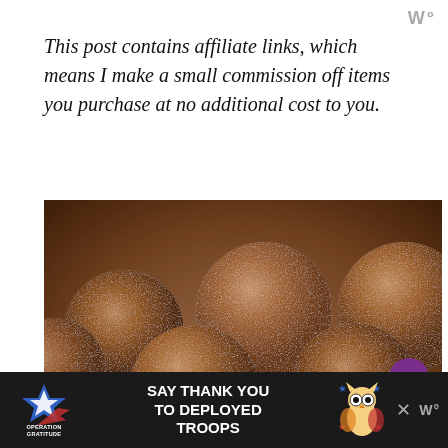W°
This post contains affiliate links, which means I make a small commission off items you purchase at no additional cost to you.
[Figure (photo): A white bowl filled with cocoa-dusted chocolate truffles, close-up shot with soft bokeh background. Overlaid with heart/save button, share button, and a 'What's Next' panel showing '4-Ingredient Healthy Rice...']
SAY THANK YOU TO DEPLOYED TROOPS — Operation Gratitude advertisement
W°